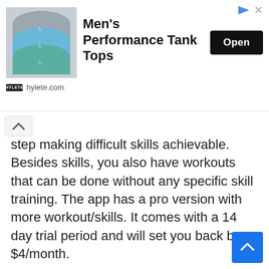[Figure (screenshot): Advertisement banner for hylete.com showing Men's Performance Tank Tops with an image of folded tank tops in grey, blue, and teal colors, an 'Open' button, and the hylete.com branding.]
step making difficult skills achievable. Besides skills, you also have workouts that can be done without any specific skill training. The app has a pro version with more workout/skills. It comes with a 14 day trial period and will set you back by $4/month.
Overview